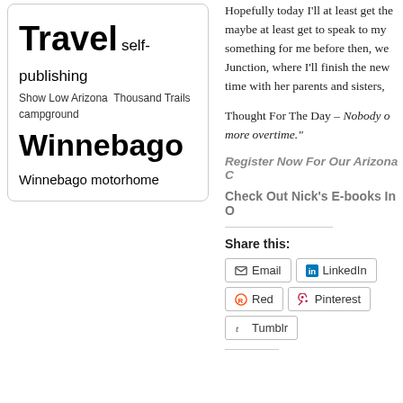Travel self-publishing
Show Low Arizona Thousand Trails campground Winnebago
Winnebago motorhome
Hopefully today I'll at least get the maybe at least get to speak to my something for me before then, we Junction, where I'll finish the new time with her parents and sisters,
Thought For The Day – Nobody o more overtime."
Register Now For Our Arizona C
Check Out Nick's E-books In O
Share this:
Email LinkedIn Red Pinterest Tumblr